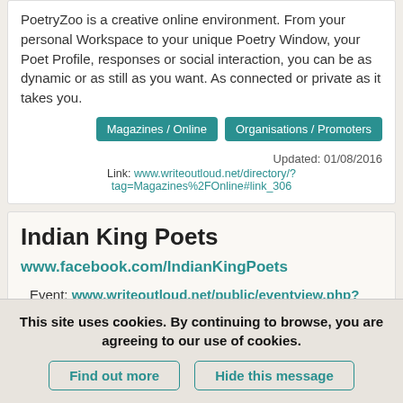PoetryZoo is a creative online environment. From your personal Workspace to your unique Poetry Window, your Poet Profile, responses or social interaction, you can be as dynamic or as still as you want. As connected or private as it takes you.
Magazines / Online | Organisations / Promoters
Updated: 01/08/2016
Link: www.writeoutloud.net/directory/?tag=Magazines%2FOnline#link_306
Indian King Poets
www.facebook.com/IndianKingPoets
Event: www.writeoutloud.net/public/eventview.php?eventID=10586
The Indian King Poets, established in the 1990s as part
This site uses cookies. By continuing to browse, you are agreeing to our use of cookies.
Find out more | Hide this message